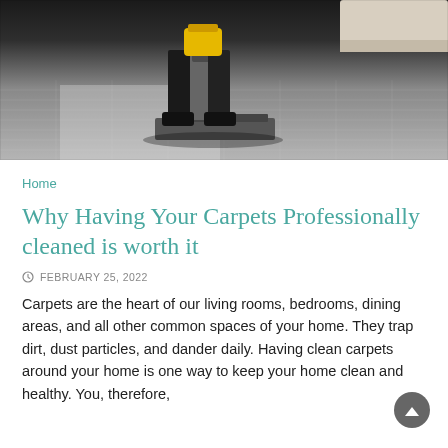[Figure (photo): Professional carpet cleaning: person operating a large commercial carpet cleaning machine on a gray/blue patterned carpet, viewed from low angle showing feet and the cleaning machine head.]
Home
Why Having Your Carpets Professionally cleaned is worth it
FEBRUARY 25, 2022
Carpets are the heart of our living rooms, bedrooms, dining areas, and all other common spaces of your home. They trap dirt, dust particles, and dander daily. Having clean carpets around your home is one way to keep your home clean and healthy. You, therefore,